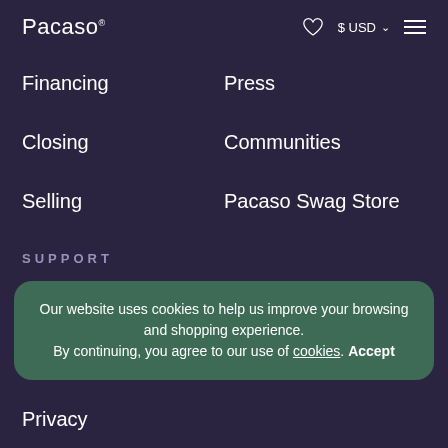Pacaso   ♡   $ USD ∨   ≡
Financing
Press
Closing
Communities
Selling
Pacaso Swag Store
SUPPORT
Resources
FAQs
Our website uses cookies to help us improve your browsing and shopping experience. By continuing, you agree to our use of cookies. Accept
Privacy
Candidate Pri…